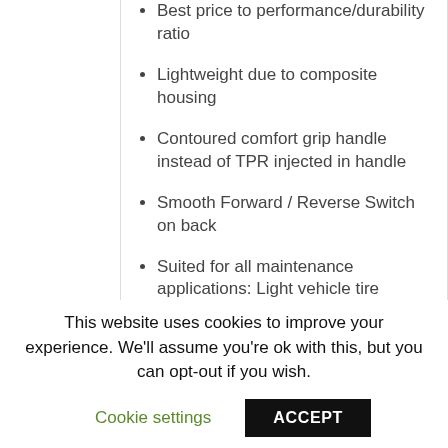Best price to performance/durability ratio
Lightweight due to composite housing
Contoured comfort grip handle instead of TPR injected in handle
Smooth Forward / Reverse Switch on back
Suited for all maintenance applications: Light vehicle tire changing, General maintenance on vehicles and MRO applications
This website uses cookies to improve your experience. We'll assume you're ok with this, but you can opt-out if you wish.
Cookie settings
ACCEPT